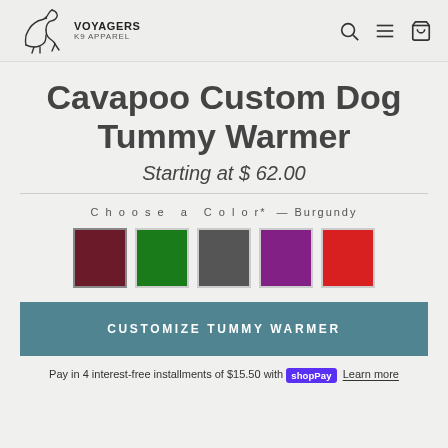VOYAGERS K9 APPAREL
Cavapoo Custom Dog Tummy Warmer
Starting at $ 62.00
Choose a Color* — Burgundy
[Figure (other): Five color swatches: burgundy, green, gray, purple, red]
CUSTOMIZE TUMMY WARMER
Pay in 4 interest-free installments of $15.50 with Shop Pay Learn more